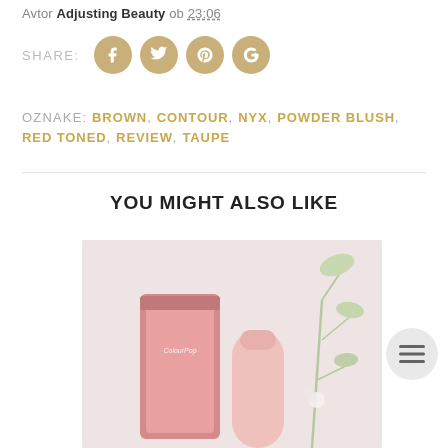Avtor Adjusting Beauty ob 23:06
[Figure (other): Social share row with SHARE: label and four golden circular social media icons: Facebook, Twitter, Pinterest, Google+]
OZNAKE: BROWN, CONTOUR, NYX, POWDER BLUSH, RED TONED, REVIEW, TAUPE
YOU MIGHT ALSO LIKE
[Figure (photo): Photo of two pink ColourPop cosmetic products (a rectangular compact and a cylindrical tube) against a light background with green plant stems]